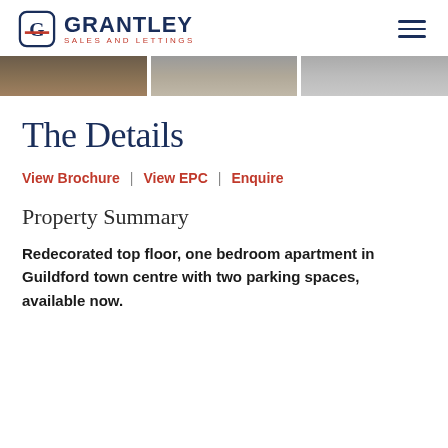[Figure (logo): Grantley Sales and Lettings logo with circular icon and text]
[Figure (photo): Photo strip showing three cropped property interior/exterior images]
The Details
View Brochure  |  View EPC  |  Enquire
Property Summary
Redecorated top floor, one bedroom apartment in Guildford town centre with two parking spaces, available now.